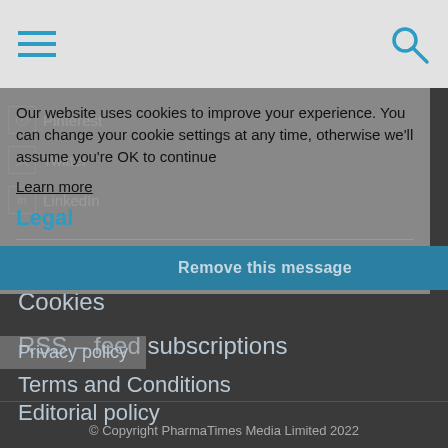[Figure (screenshot): Navigation header bar with hamburger menu icon (3 blue lines) on the left and a blue search/magnifying glass icon on the right, on a light gray background]
Our website uses cookies to improve your experience. You can change your cookie settings at any time, otherwise we'll assume you're OK to continue
Learn more
Legal
Remove this message
Privacy policy
Pinterest
Twitter
LinkedIn
Terms and Conditions
Editorial policy
Cookies
RSS - feed subscriptions
© Copyright PharmaTimes Media Limited 2022